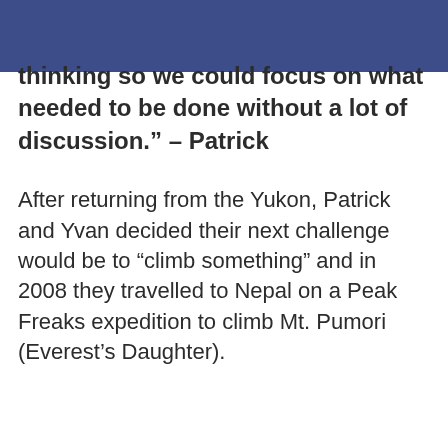thinking so we could focus on what needed to be done without a lot of discussion.” – Patrick
After returning from the Yukon, Patrick and Yvan decided their next challenge would be to “climb something” and in 2008 they travelled to Nepal on a Peak Freaks expedition to climb Mt. Pumori (Everest’s Daughter).